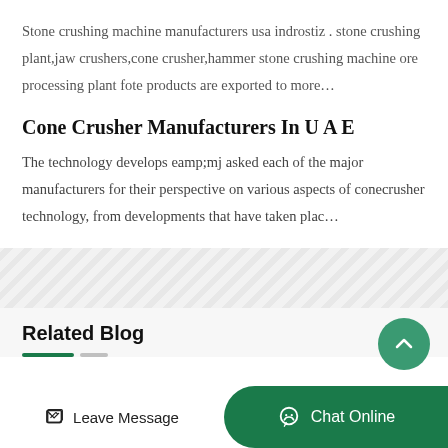Stone crushing machine manufacturers usa indrostiz . stone crushing plant,jaw crushers,cone crusher,hammer stone crushing machine ore processing plant fote products are exported to more…
Cone Crusher Manufacturers In U A E
The technology develops eamp;mj asked each of the major manufacturers for their perspective on various aspects of conecrusher technology, from developments that have taken plac…
Related Blog
Leave Message
Chat Online